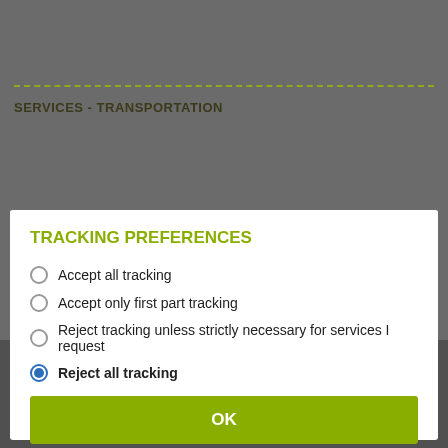SERVICES - TRANSPORTATION
TRACKING PREFERENCES
Accept all tracking
Accept only first part tracking
Reject tracking unless strictly necessary for services I request
Reject all tracking
OK
All trademarks are the property of their respective owners.
© TBS INTERNET, all rights reserved. All reproduction, copy or mirroring prohibited. Legal notice. Our prices are in GBP VAT-less and order-time payment, see also our general sales terms.